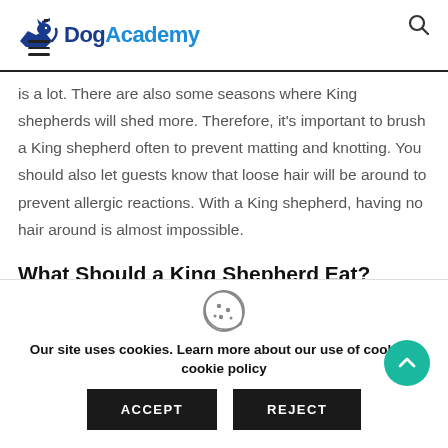DogAcademy
is a lot. There are also some seasons where King shepherds will shed more. Therefore, it's important to brush a King shepherd often to prevent matting and knotting. You should also let guests know that loose hair will be around to prevent allergic reactions. With a King shepherd, having no hair around is almost impossible.
What Should a King Shepherd Eat?
Our site uses cookies. Learn more about our use of cookies: cookie policy
ACCEPT   REJECT